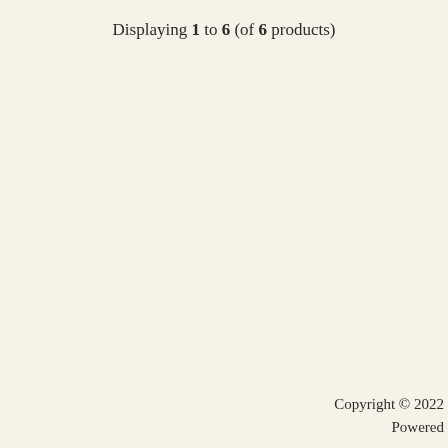Displaying 1 to 6 (of 6 products)
Copyright © 2022 Powered